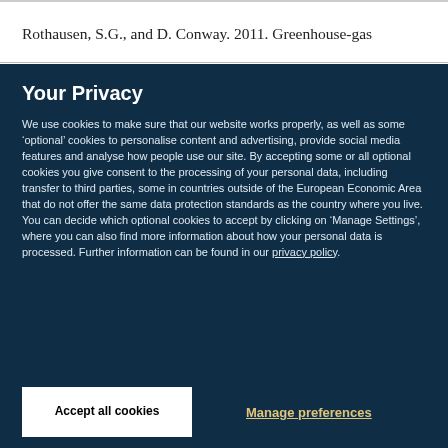Rothausen, S.G., and D. Conway. 2011. Greenhouse-gas
Your Privacy
We use cookies to make sure that our website works properly, as well as some ‘optional’ cookies to personalise content and advertising, provide social media features and analyse how people use our site. By accepting some or all optional cookies you give consent to the processing of your personal data, including transfer to third parties, some in countries outside of the European Economic Area that do not offer the same data protection standards as the country where you live. You can decide which optional cookies to accept by clicking on ‘Manage Settings’, where you can also find more information about how your personal data is processed. Further information can be found in our privacy policy.
Accept all cookies
Manage preferences